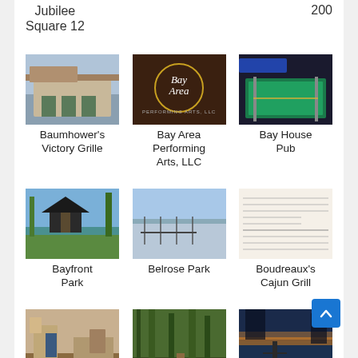Jubilee Square 12
200
[Figure (photo): Exterior of Baumhower's Victory Grille building]
Baumhower's Victory Grille
[Figure (photo): Bay Area Performing Arts LLC logo with decorative script]
Bay Area Performing Arts, LLC
[Figure (photo): Interior of Bay House Pub showing pool table with blue/green felt]
Bay House Pub
[Figure (photo): Bayfront Park with pavilion, trees, and water in background]
Bayfront Park
[Figure (photo): Belrose Park with calm water and dock/fence in the scene]
Belrose Park
[Figure (photo): Boudreaux's Cajun Grill menu document]
Boudreaux's Cajun Grill
[Figure (photo): Conde interior room with furniture]
Conde
[Figure (photo): D'Olive wooded trail through pine trees]
D'Olive
[Figure (photo): Daphne waterfront at sunset with pier silhouette]
Daphne